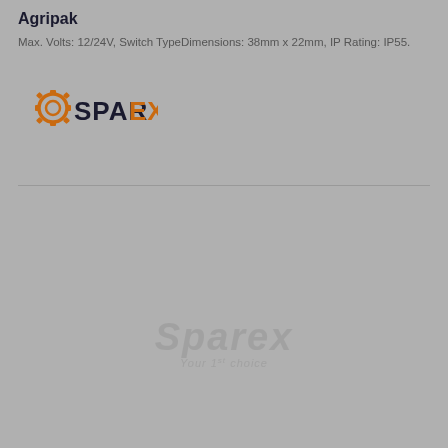Agripak
Max. Volts: 12/24V, Switch TypeDimensions: 38mm x 22mm, IP Rating: IP55.
[Figure (logo): Sparex logo with gear icon and orange text]
[Figure (logo): Sparex watermark logo with 'Your 1st choice' tagline]